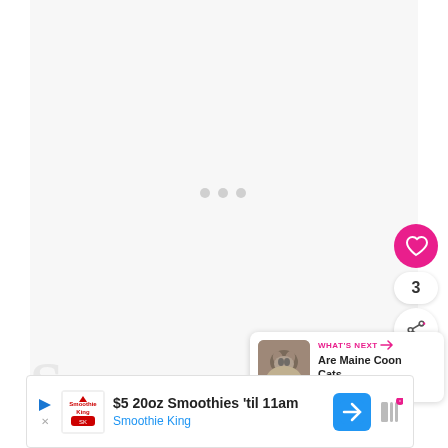[Figure (screenshot): Mostly blank/loading web page content area with light gray background and three gray dots loading indicator in the center]
[Figure (other): Pink circular heart/like button showing a heart icon]
3
[Figure (other): White circular share button with share icon]
[Figure (other): What's Next card showing a cat thumbnail and text 'Are Maine Coon Cats...' with pink label 'WHAT'S NEXT →']
[Figure (screenshot): Advertisement banner: $5 20oz Smoothies 'til 11am - Smoothie King, with navigation arrow icon and menu icon]